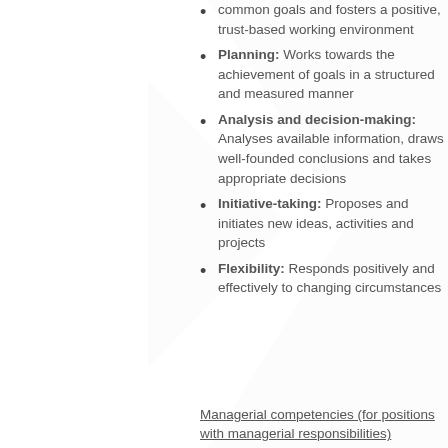Planning: Works towards the achievement of goals in a structured and measured manner
Analysis and decision-making: Analyses available information, draws well-founded conclusions and takes appropriate decisions
Initiative-taking: Proposes and initiates new ideas, activities and projects
Flexibility: Responds positively and effectively to changing circumstances
Managerial competencies (for positions with managerial responsibilities)